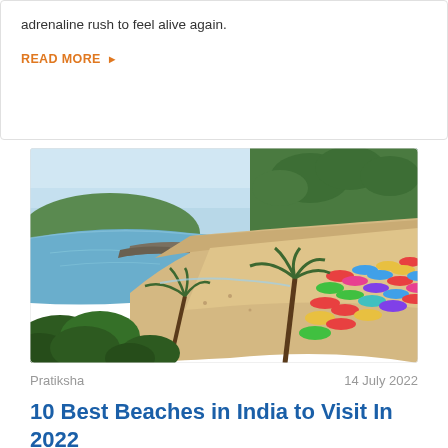adrenaline rush to feel alive again.
READ MORE ▶
[Figure (photo): Aerial view of a beach in Goa, India, with palm trees, colorful beach umbrellas, and blue ocean waters curving around a sandy shoreline with green hills in the background.]
Pratiksha
14 July 2022
10 Best Beaches in India to Visit In 2022